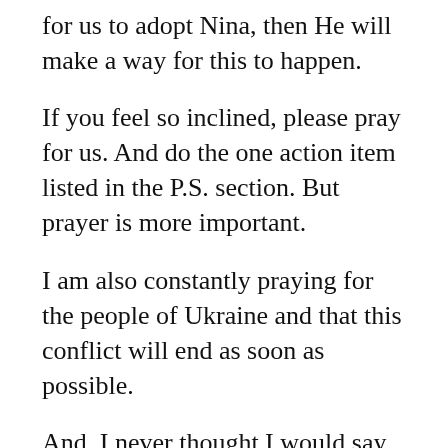for us to adopt Nina, then He will make a way for this to happen.
If you feel so inclined, please pray for us. And do the one action item listed in the P.S. section. But prayer is more important.
I am also constantly praying for the people of Ukraine and that this conflict will end as soon as possible.
And, I never thought I would say this, but please pray for world peace, too.
Thank you for reading this post and for following along on our long and arduous